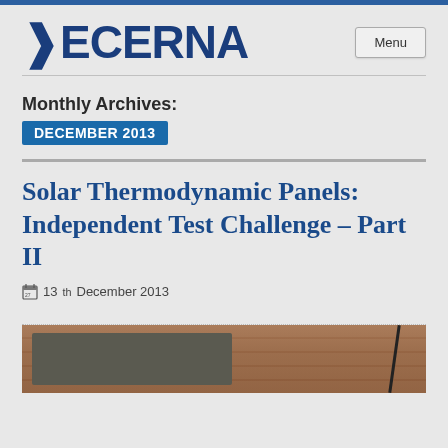DECERNA
Monthly Archives: DECEMBER 2013
Solar Thermodynamic Panels: Independent Test Challenge – Part II
13th December 2013
[Figure (photo): Photo of a solar thermodynamic panel mounted on a brick wall, with a dark cable running diagonally across the panel.]